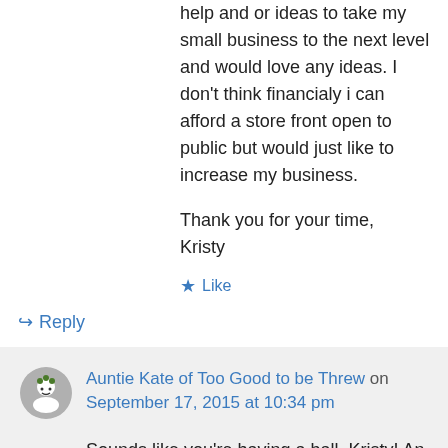help and or ideas to take my small business to the next level and would love any ideas. I don't think financialy i can afford a store front open to public but would just like to increase my business.
Thank you for your time,
Kristy
★ Like
↳ Reply
Auntie Kate of Too Good to be Threw on September 17, 2015 at 10:34 pm
Sounds like you're having a ball, Kristy! An interesting concept, and one that is, I